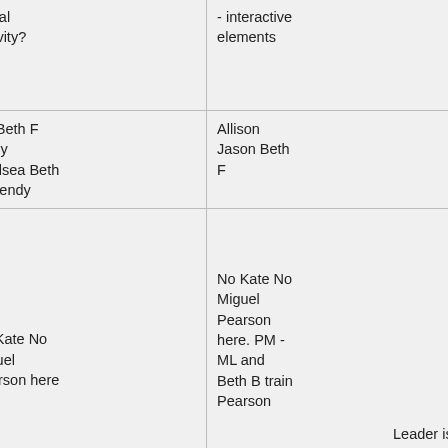|  |  |  |
| --- | --- | --- |
| 4:00 activity | Canal Activity? | - interactive elements |
| PM adults | ML Beth F
Emily
Chelsea Beth B Wendy | Allison
Jason Beth F |
| Notes | No Kate No Miguel Pearson here | No Kate No Miguel Pearson here. PM - ML and Beth B train Pearson |
Leader is in bold! Jason will be around